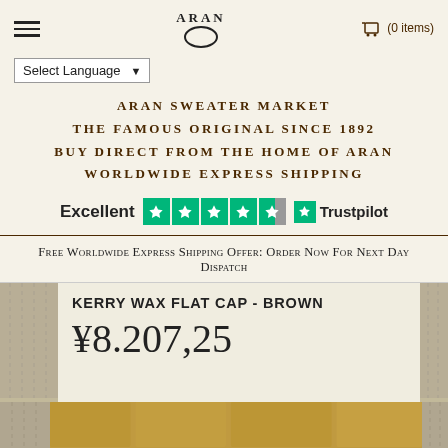ARAN | ≡ | 🛒 (0 items)
Select Language ▼
ARAN SWEATER MARKET
THE FAMOUS ORIGINAL SINCE 1892
BUY DIRECT FROM THE HOME OF ARAN
WORLDWIDE EXPRESS SHIPPING
[Figure (logo): Trustpilot rating: Excellent with 4.5 stars and Trustpilot logo]
FREE WORLDWIDE EXPRESS SHIPPING OFFER: ORDER NOW FOR NEXT DAY DISPATCH
KERRY WAX FLAT CAP - BROWN
¥8.207,25
[Figure (photo): Bottom portion of page showing a person wearing a grey/brown flat cap against a yellow/ochre stone wall background. Blue shield badge visible in bottom left.]